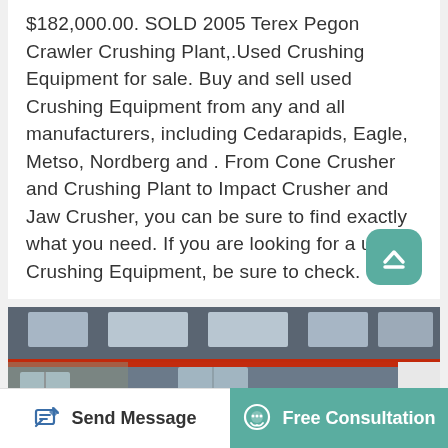$182,000.00. SOLD 2005 Terex Pegon Crawler Crushing Plant,.Used Crushing Equipment for sale. Buy and sell used Crushing Equipment from any and all manufacturers, including Cedarapids, Eagle, Metso, Nordberg and . From Cone Crusher and Crushing Plant to Impact Crusher and Jaw Crusher, you can be sure to find exactly what you need. If you are looking for a used Crushing Equipment, be sure to check.
[Figure (photo): Interior of industrial factory showing large red and black crusher flywheel components on the factory floor, with overhead crane beams and skylights visible.]
Send Message
Free Consultation